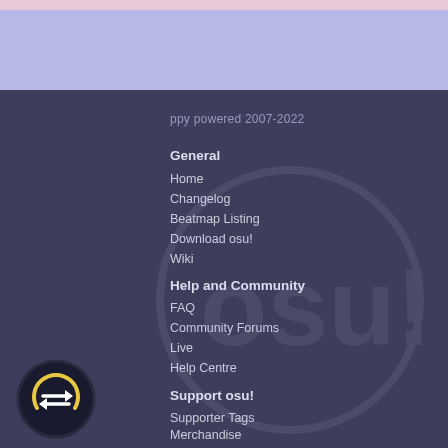ppy powered 2007-2022
General
Home
Changelog
Beatmap Listing
Download osu!
Wiki
Help and Community
FAQ
Community Forums
Live
Help Centre
Support osu!
Supporter Tags
Merchandise
Legal & Status
Terms of Service
Copyright (DMCA)
Server Status
[Figure (logo): osu! swap/refresh circular button icon with arrows and yellow arc at bottom left of page]